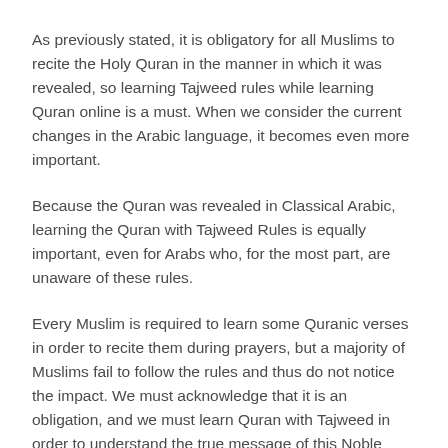As previously stated, it is obligatory for all Muslims to recite the Holy Quran in the manner in which it was revealed, so learning Tajweed rules while learning Quran online is a must. When we consider the current changes in the Arabic language, it becomes even more important.
Because the Quran was revealed in Classical Arabic, learning the Quran with Tajweed Rules is equally important, even for Arabs who, for the most part, are unaware of these rules.
Every Muslim is required to learn some Quranic verses in order to recite them during prayers, but a majority of Muslims fail to follow the rules and thus do not notice the impact. We must acknowledge that it is an obligation, and we must learn Quran with Tajweed in order to understand the true message of this Noble Book and experience its effects on our body and soul.
The Purpose